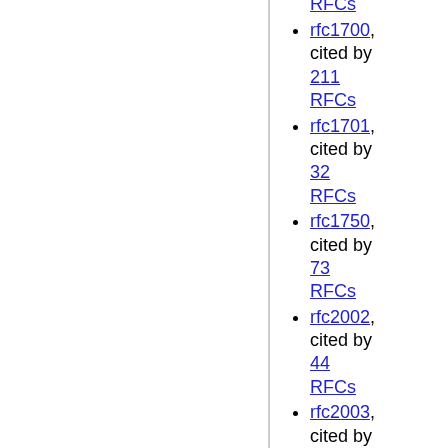RFCs
rfc1700, cited by 211 RFCs
rfc1701, cited by 32 RFCs
rfc1750, cited by 73 RFCs
rfc2002, cited by 44 RFCs
rfc2003, cited by 72 RFCs
rfc2004, cited by 29 RFCs
rfc2005, cited by 9 RFCs